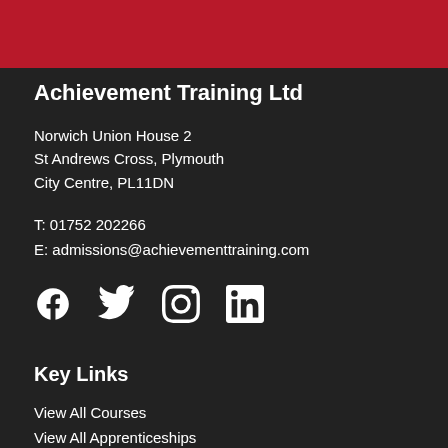Achievement Training Ltd
Norwich Union House 2
St Andrews Cross, Plymouth
City Centre, PL11DN
T: 01752 202266
E: admissions@achievementtraining.com
[Figure (other): Social media icons: Facebook, Twitter, Instagram, LinkedIn]
Key Links
View All Courses
View All Apprenticeships